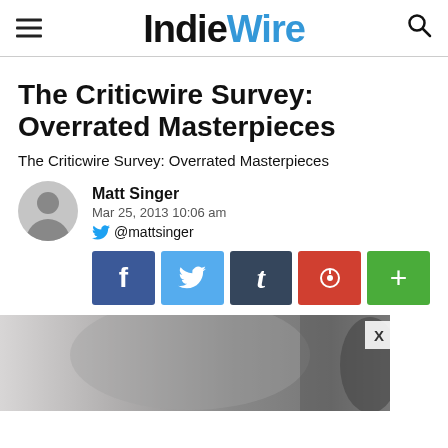IndieWire
The Criticwire Survey: Overrated Masterpieces
The Criticwire Survey: Overrated Masterpieces
Matt Singer
Mar 25, 2013 10:06 am
@mattsinger
[Figure (illustration): Social share buttons: Facebook (blue), Twitter (light blue), Tumblr (dark blue-gray), Pinterest (red), More/Plus (green)]
[Figure (photo): Black and white close-up photo of a person's face, partially cropped, with a close-up X button overlay]